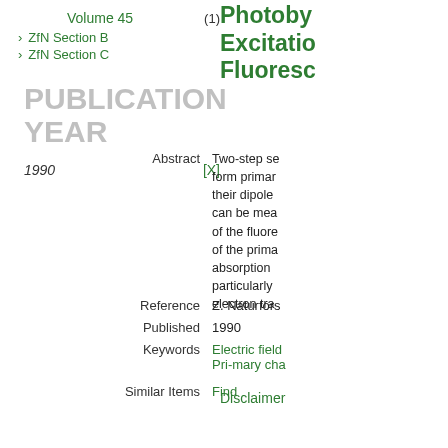Volume 45    (1)
ZfN Section B
ZfN Section C
Photoby... Excitation Fluoresc...
PUBLICATION YEAR
1990    [X]
Abstract   Two-step se... form primar... their dipole... can be mea... of the fluore... of the prima... absorption... particularly... electron tra...
Reference   Z. Naturfors...
Published   1990
Keywords   Electric field... Pri-mary cha...
Similar Items   Find
Disclaimer